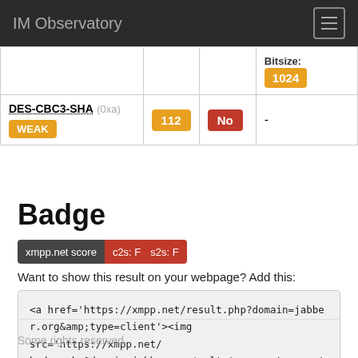IM Observatory
| Cipher | Score | Forward Secrecy | Bitsize |
| --- | --- | --- | --- |
|  |  |  | Bitsize: 1024 |
| DES-CBC3-SHA (0xa) WEAK | 112 | No | - |
Badge
[Figure (other): xmpp.net score badge showing c2s: F and s2s: F]
Want to show this result on your webpage? Add this:
<a href='https://xmpp.net/result.php?domain=jabber.org&amp;type=client'><img src='https://xmpp.net/badge.php?domain=jabber.org' alt='xmpp.net score' /></a>
Some rights reserved.